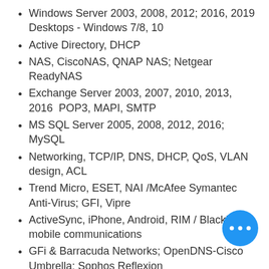Windows Server 2003, 2008, 2012; 2016, 2019 Desktops - Windows 7/8, 10
Active Directory, DHCP
NAS, CiscoNAS, QNAP NAS; Netgear ReadyNAS
Exchange Server 2003, 2007, 2010, 2013, 2016  POP3, MAPI, SMTP
MS SQL Server 2005, 2008, 2012, 2016; MySQL
Networking, TCP/IP, DNS, DHCP, QoS, VLAN design, ACL
Trend Micro, ESET, NAI /McAfee Symantec Anti-Virus; GFI, Vipre
ActiveSync, iPhone, Android, RIM / Blackberry mobile communications
GFi & Barracuda Networks; OpenDNS-Cisco Umbrella; Sophos Reflexion
Cisco ASA & Routers, SonicWALL, Checkpoint Firewalls
HP/Compaq, Apple, Lenovo/IBM, Dell hardware